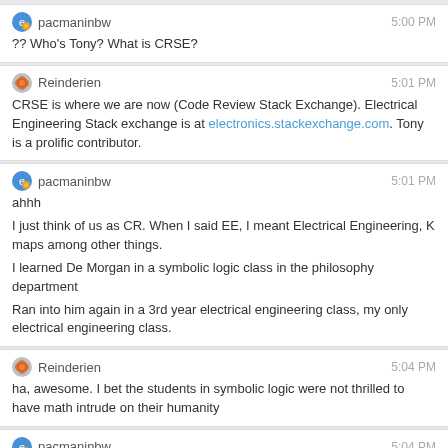pacmaninbw  5:00 PM
?? Who's Tony? What is CRSE?
Reinderien  5:01 PM
CRSE is where we are now (Code Review Stack Exchange). Electrical Engineering Stack exchange is at electronics.stackexchange.com. Tony is a prolific contributor.
pacmaninbw  5:01 PM
ahhh
I just think of us as CR. When I said EE, I meant Electrical Engineering, K maps among other things.
I learned De Morgan in a symbolic logic class in the philosophy department
Ran into him again in a 3rd year electrical engineering class, my only electrical engineering class.
Reinderien  5:04 PM
ha, awesome. I bet the students in symbolic logic were not thrilled to have math intrude on their humanity
pacmaninbw  5:04 PM
LOL
At least half the class was computer science majors
required back then
You don't want to see BASIC code written a philosophy professor, it is total spaghetti code.
He's got to be retired by now.